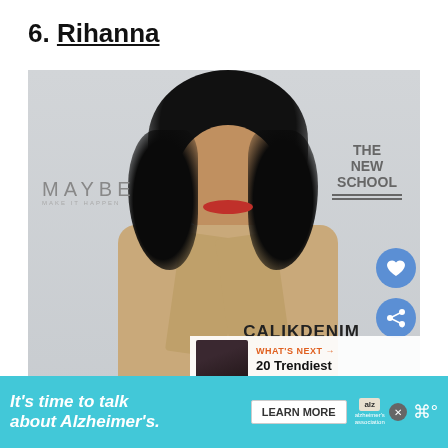6. Rihanna
[Figure (photo): Photo of Rihanna at an event with Maybelline and The New School branding in the background. She wears a beige oversized coat with curly black hair and red lipstick. Calik Denim logo visible. Heart and share buttons overlaid. 'What's Next' panel shows '20 Trendiest Mullet...']
Rihanna, the no.1 pop singer off our generation ha...d
It's time to talk about Alzheimer's. LEARN MORE